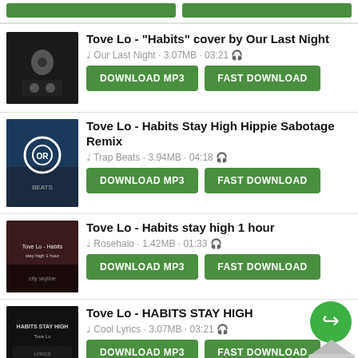Tove Lo - "Habits" cover by Our Last Night | Our Last Night · 3.07MB · 03:21
Tove Lo - Habits Stay High Hippie Sabotage Remix | Trap Beats · 3.94MB · 04:18
Tove Lo - Habits stay high 1 hour | Rosehalo · 1.42MB · 01:33
Tove Lo - HABITS STAY HIGH | Cool Lyrics · 3.07MB · 03:21